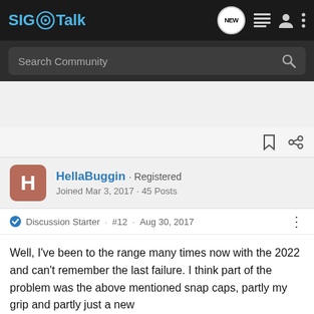SIG Talk
Search Community
HellaBuggin · Registered
Joined Mar 3, 2017 · 45 Posts
Discussion Starter · #12 · Aug 30, 2017
Well, I've been to the range many times now with the 2022 and can't remember the last failure. I think part of the problem was the above mentioned snap caps, partly my grip and partly just a new gun it works li
[Figure (screenshot): Bass Pro Shops ad banner: RELOADING SUPPLIES with SHOP NOW button]